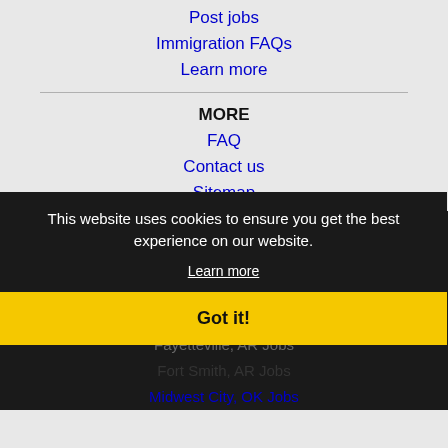Post jobs
Immigration FAQs
Learn more
MORE
FAQ
Contact us
Sitemap
Legal
Privacy
NEARBY CITIES
Edmond, OK Jobs
Fayetteville, AR Jobs
Fort Smith, AR Jobs
Midwest City, OK Jobs
This website uses cookies to ensure you get the best experience on our website.
Learn more
Got it!